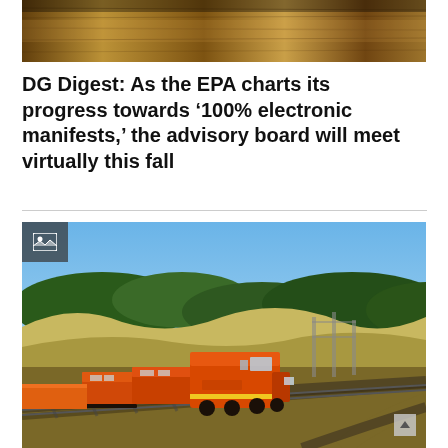[Figure (photo): Top partial image showing a wooden surface or floor with warm brown tones, partially cropped at the top of the page]
DG Digest: As the EPA charts its progress towards ‘100% electronic manifests,’ the advisory board will meet virtually this fall
[Figure (photo): Photograph of an orange BNSF freight train with multiple locomotives traveling along railroad tracks through a rural landscape with hills, trees, and open fields under a blue sky. A small image/gallery icon appears in the top-left corner of the photo.]